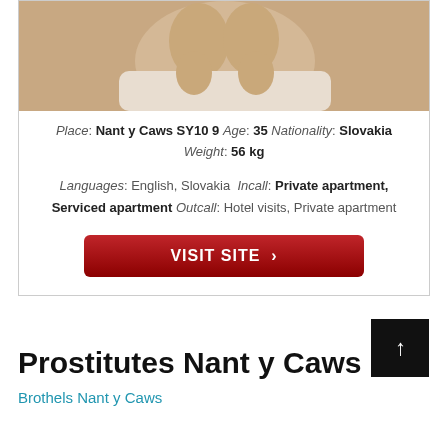[Figure (photo): Partial photo of a person on a bed, cropped at top]
Place: Nant y Caws SY10 9 Age: 35 Nationality: Slovakia Weight: 56 kg
Languages: English, Slovakia Incall: Private apartment, Serviced apartment Outcall: Hotel visits, Private apartment
VISIT SITE >
Prostitutes Nant y Caws
Brothels Nant y Caws